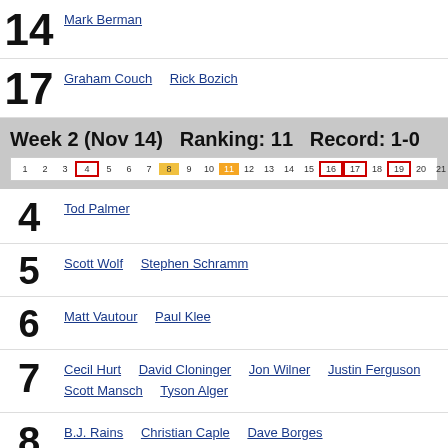14 Mark Berman
17 Graham Couch  Rick Bozich
Week 2 (Nov 14)   Ranking: 11   Record: 1-0
[Figure (infographic): Ranking bar showing positions 1-25 and NR with positions 4, 16, 17, 19 highlighted in red boxes, positions 8 and 11 highlighted in orange/yellow]
4 Tod Palmer
5 Scott Wolf  Stephen Schramm
6 Matt Vautour  Paul Klee
7 Cecil Hurt  David Cloninger  Jon Wilner  Justin Ferguson  Scott Mansch  Tyson Alger
8 B.J. Rains  Christian Caple  Dave Borges  Elton Alexander  Jerry Carino  Joe Juliano  John Bohnenkamp  Jon Rothstein